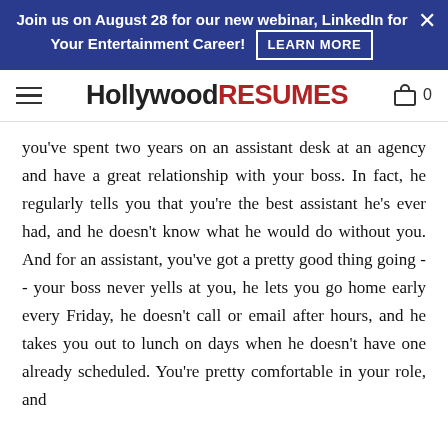Join us on August 28 for our new webinar, LinkedIn for Your Entertainment Career! LEARN MORE
[Figure (logo): Hollywood Resumes logo with hamburger menu and cart icon]
you've spent two years on an assistant desk at an agency and have a great relationship with your boss. In fact, he regularly tells you that you're the best assistant he's ever had, and he doesn't know what he would do without you. And for an assistant, you've got a pretty good thing going -- your boss never yells at you, he lets you go home early every Friday, he doesn't call or email after hours, and he takes you out to lunch on days when he doesn't have one already scheduled. You're pretty comfortable in your role, and